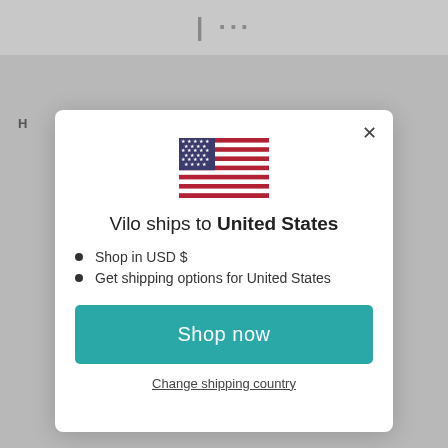[Figure (screenshot): Gray website background with partial header text visible]
H
[Figure (illustration): US Flag icon]
Vilo ships to United States
Shop in USD $
Get shipping options for United States
Shop now
Change shipping country